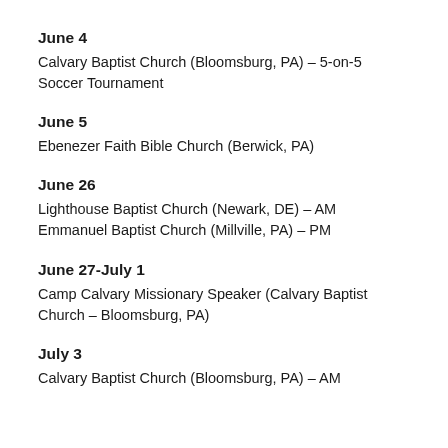June 4
Calvary Baptist Church (Bloomsburg, PA) – 5-on-5 Soccer Tournament
June 5
Ebenezer Faith Bible Church (Berwick, PA)
June 26
Lighthouse Baptist Church (Newark, DE) – AM
Emmanuel Baptist Church (Millville, PA) – PM
June 27-July 1
Camp Calvary Missionary Speaker (Calvary Baptist Church – Bloomsburg, PA)
July 3
Calvary Baptist Church (Bloomsburg, PA) – AM